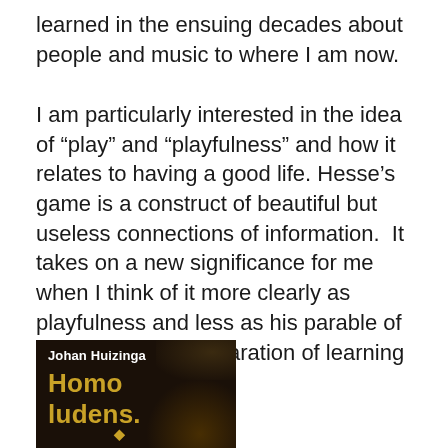learned in the ensuing decades about people and music to where I am now.
I am particularly interested in the idea of “play” and “playfulness” and how it relates to having a good life. Hesse’s game is a construct of beautiful but useless connections of information.  It takes on a new significance for me when I think of it more clearly as playfulness and less as his parable of the perils of the separation of learning from society.
[Figure (photo): Book cover of 'Homo ludens' by Johan Huizinga. Dark background with the author name in white and title in gold/yellow bold text.]